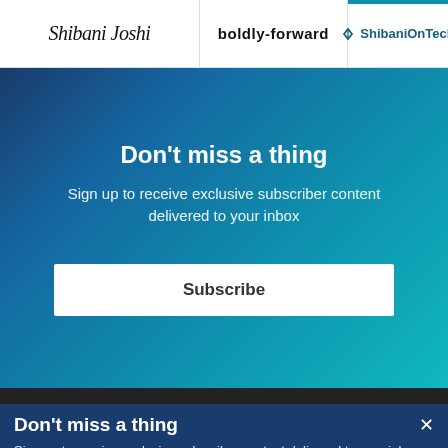Shibani Joshi | boldly-forward | ShibaniOnTech
Don't miss a thing
Sign up to receive exclusive subscriber content delivered to your inbox
Subscribe
Don't miss a thing
Sign up to receive exclusive subscriber content delivered to your inbox